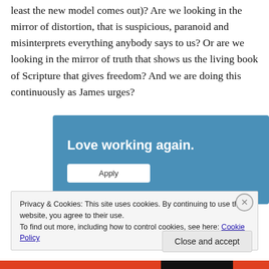least the new model comes out)? Are we looking in the mirror of distortion, that is suspicious, paranoid and misinterprets everything anybody says to us? Or are we looking in the mirror of truth that shows us the living book of Scripture that gives freedom? And we are doing this continuously as James urges?
[Figure (other): Blue advertisement banner with text 'Love working again.' and an 'Apply' button]
Privacy & Cookies: This site uses cookies. By continuing to use this website, you agree to their use.
To find out more, including how to control cookies, see here: Cookie Policy
Close and accept